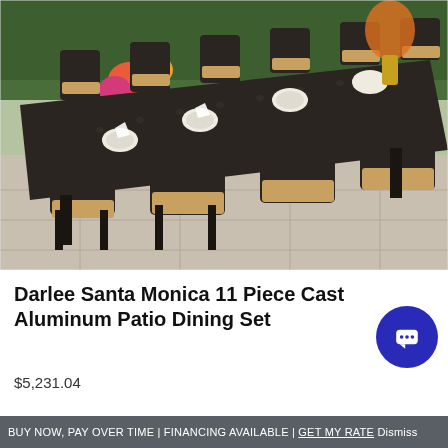[Figure (photo): Outdoor patio dining set with a large rectangular black cast aluminum table and multiple chairs with tan/beige cushions, set in an outdoor patio area with flower arrangements and place settings on the table.]
Darlee Santa Monica 11 Piece Cast Aluminum Patio Dining Set
$5,231.04
BUY NOW, PAY OVER TIME | FINANCING AVAILABLE | GET MY RATE Dismiss